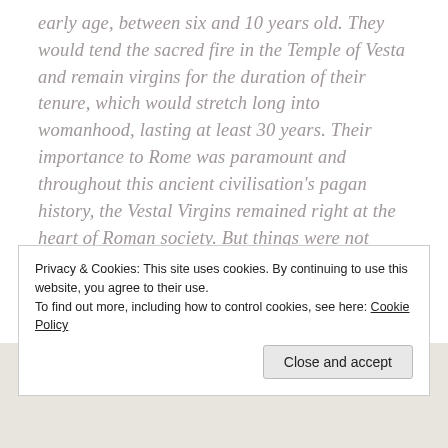early age, between six and 10 years old. They would tend the sacred fire in the Temple of Vesta and remain virgins for the duration of their tenure, which would stretch long into womanhood, lasting at least 30 years. Their importance to Rome was paramount and throughout this ancient civilisation's pagan history, the Vestal Virgins remained right at the heart of Roman society. But things were not always plain sailing for the Vestals during their 1,000 year history... I was delighted to be joined by a leading light on this subject Peta
Privacy & Cookies: This site uses cookies. By continuing to use this website, you agree to their use.
To find out more, including how to control cookies, see here: Cookie Policy
Close and accept